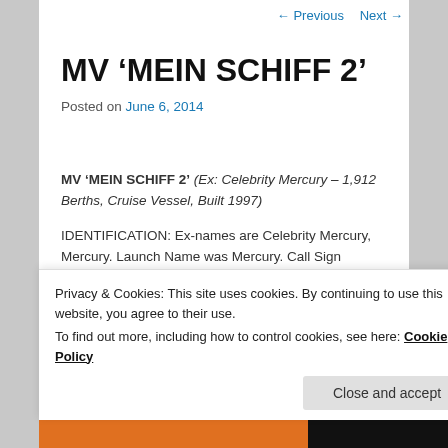← Previous   Next →
MV ‘MEIN SCHIFF 2’
Posted on June 6, 2014
MV ‘MEIN SCHIFF 2’ (Ex: Celebrity Mercury – 1,912 Berths, Cruise Vessel, Built 1997)
IDENTIFICATION: Ex-names are Celebrity Mercury, Mercury. Launch Name was Mercury. Call Sign 9HJG9, IMO Number 9106302. DIMENSIONS/TONNAGES: Moulded Depth of 10.50 m. Tonnage of 43,108
Privacy & Cookies: This site uses cookies. By continuing to use this website, you agree to their use.
To find out more, including how to control cookies, see here: Cookie Policy